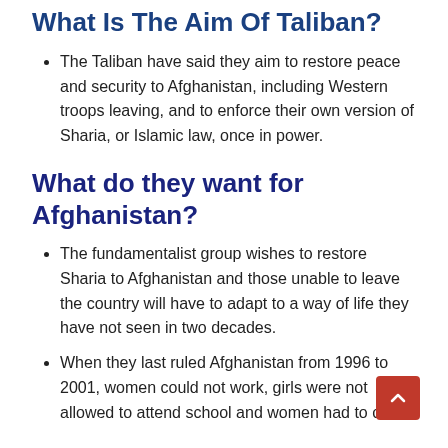What Is The Aim Of Taliban?
The Taliban have said they aim to restore peace and security to Afghanistan, including Western troops leaving, and to enforce their own version of Sharia, or Islamic law, once in power.
What do they want for Afghanistan?
The fundamentalist group wishes to restore Sharia to Afghanistan and those unable to leave the country will have to adapt to a way of life they have not seen in two decades.
When they last ruled Afghanistan from 1996 to 2001, women could not work, girls were not allowed to attend school and women had to cover